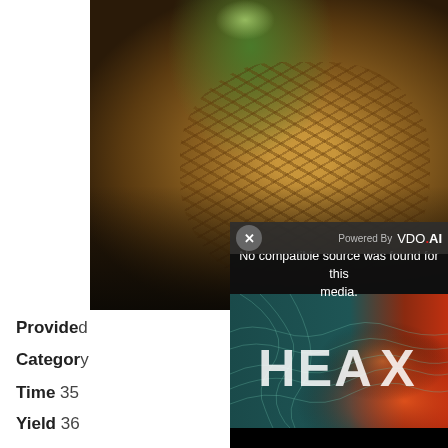[Figure (screenshot): Photo of what appears to be a textured animal (reptile/lizard) in a dark background, partially obscured by an ad overlay. The overlay shows a VDO.AI advertisement bar with a close (x) button, and a video player error message reading 'No compatible source was found for this media.' Below that is a HEA X branded panel with teal/red heat map background.]
Provided
Category
Time 35
Yield 36